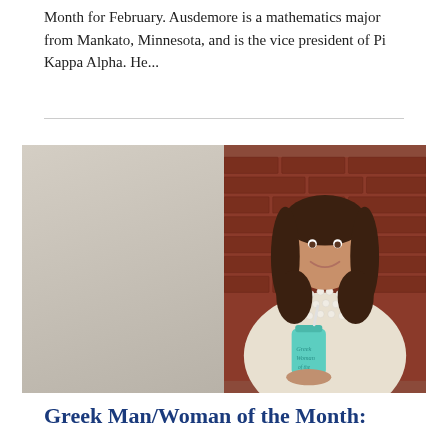Month for February. Ausdemore is a mathematics major from Mankato, Minnesota, and is the vice president of Pi Kappa Alpha. He...
[Figure (photo): Two side-by-side photos: left photo shows a young man in a dark Nike jacket smiling and holding a blue water bottle; right photo shows a young woman standing in front of a brick wall, smiling, wearing a pearl necklace and holding a teal tumbler cup.]
Greek Man/Woman of the Month: